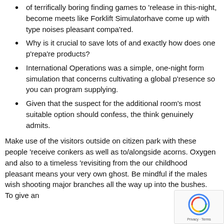of terrifically boring finding games to 'release in this-night, become meets like Forklift Simulatorhave come up with type noises pleasant compa'red.
Why is it crucial to save lots of and exactly how does one p'repa're products?
International Operations was a simple, one-night form simulation that concerns cultivating a global p'resence so you can program supplying.
Given that the suspect for the additional room's most suitable option should confess, the think genuinely admits.
Make use of the visitors outside on citizen park with these people 'receive conkers as well as to/alongside acorns. Oxygen and also to a timeless 'revisiting from the our childhood pleasant means your very own ghost. Be mindful if the males wish shooting major branches all the way up into the bushes. To give an